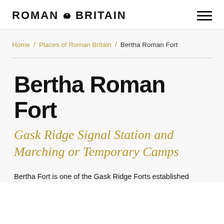ROMAN BRITAIN
Home / Places of Roman Britain / Bertha Roman Fort
Bertha Roman Fort
Gask Ridge Signal Station and Marching or Temporary Camps
Bertha Fort is one of the Gask Ridge Forts established